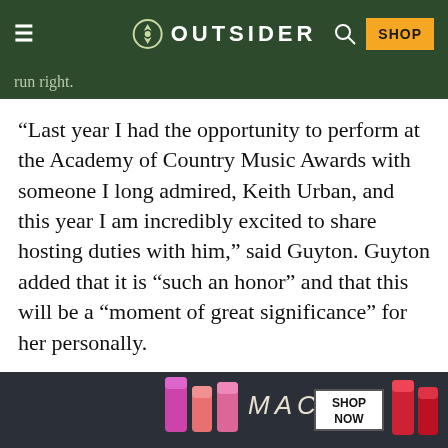OUTSIDER
run right.
“Last year I had the opportunity to perform at the Academy of Country Music Awards with someone I long admired, Keith Urban, and this year I am incredibly excited to share hosting duties with him,” said Guyton. Guyton added that it is “such an honor” and that this will be a “moment of great significance” for her personally.
[Figure (screenshot): MAC cosmetics advertisement banner with lipsticks and SHOP NOW button]